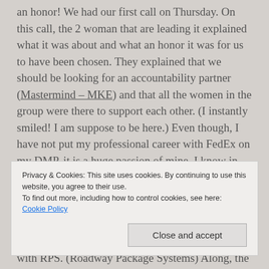an honor! We had our first call on Thursday. On this call, the 2 woman that are leading it explained what it was about and what an honor it was for us to have been chosen. They explained that we should be looking for an accountability partner (Mastermind – MKE) and that all the women in the group were there to support each other. (I instantly smiled! I am suppose to be here.) Even though, I have not put my professional career with FedEx on my DMP, it is a huge passion of mine. I know in my heart and mind
Privacy & Cookies: This site uses cookies. By continuing to use this website, you agree to their use.
To find out more, including how to control cookies, see here: Cookie Policy
I started back in 1998 as an independent contractor with RPS. (Roadway Package Systems) Along, the